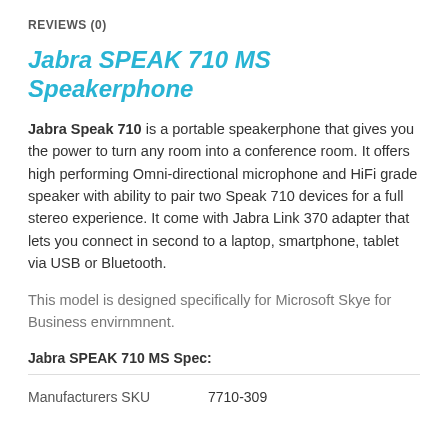REVIEWS (0)
Jabra SPEAK 710 MS Speakerphone
Jabra Speak 710 is a portable speakerphone that gives you the power to turn any room into a conference room. It offers high performing Omni-directional microphone and HiFi grade speaker with ability to pair two Speak 710 devices for a full stereo experience. It come with Jabra Link 370 adapter that lets you connect in second to a laptop, smartphone, tablet via USB or Bluetooth.
This model is designed specifically for Microsoft Skye for Business envirnmnent.
Jabra SPEAK 710 MS Spec:
|  |  |
| --- | --- |
| Manufacturers SKU | 7710-309 |